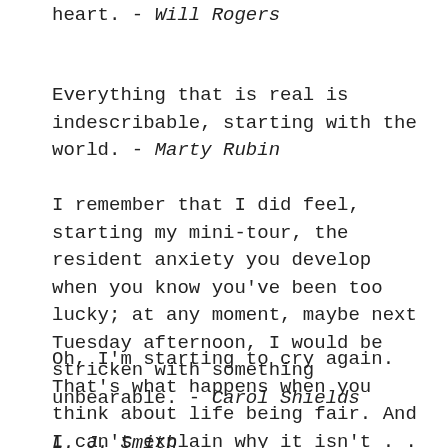heart. - Will Rogers
Everything that is real is indescribable, starting with the world. - Marty Rubin
I remember that I did feel, starting my mini-tour, the resident anxiety you develop when you know you've been too lucky; at any moment, maybe next Tuesday afternoon, I would be stricken with something unbearable. - Carol Shields
Oh, I'm starting to cry again. That's what happens when you think about life being fair. And I can't explain why it isn't . . . I don't think it's something anybody knows. - L. J. Smith